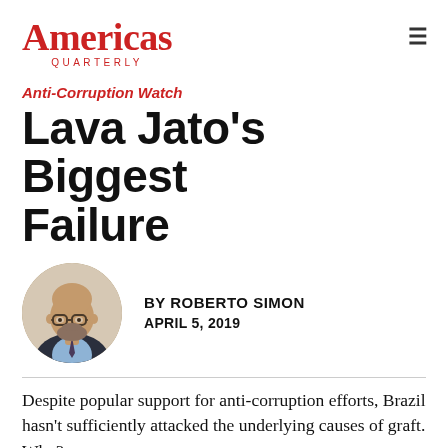Americas Quarterly
Anti-Corruption Watch
Lava Jato's Biggest Failure
[Figure (photo): Circular headshot portrait of Roberto Simon, a bald man with glasses and a beard wearing a dark suit and light blue shirt]
BY ROBERTO SIMON
APRIL 5, 2019
Despite popular support for anti-corruption efforts, Brazil hasn't sufficiently attacked the underlying causes of graft. Why?